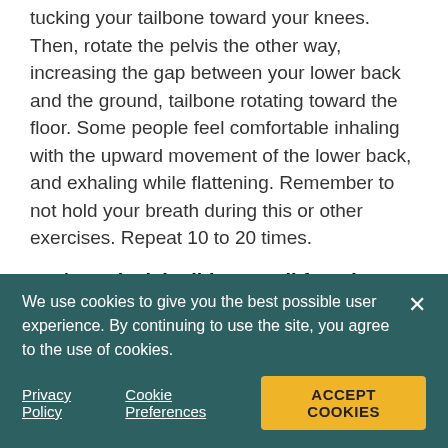tucking your tailbone toward your knees. Then, rotate the pelvis the other way, increasing the gap between your lower back and the ground, tailbone rotating toward the floor. Some people feel comfortable inhaling with the upward movement of the lower back, and exhaling while flattening. Remember to not hold your breath during this or other exercises. Repeat 10 to 20 times.
Cat/Cow (pelvic tilting on all fours)
Similar to previous exercise, but now moved to all fours, which increases the range of motion you will experience during the movement. Start on hands and knees with your back straight, shoulders over
We use cookies to give you the best possible user experience. By continuing to use the site, you agree to the use of cookies.
Privacy Policy  Cookie Preferences  ACCEPT COOKIES